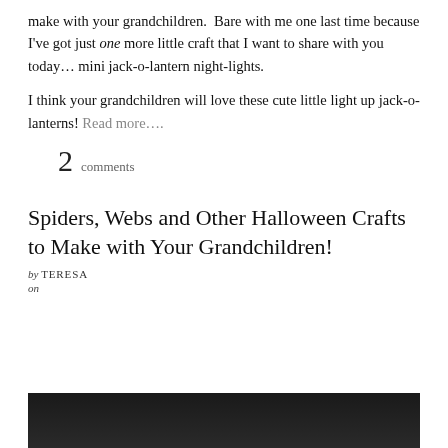make with your grandchildren.  Bare with me one last time because I've got just one more little craft that I want to share with you today… mini jack-o-lantern night-lights.
I think your grandchildren will love these cute little light up jack-o-lanterns! Read more….
2 comments
Spiders, Webs and Other Halloween Crafts to Make with Your Grandchildren!
by TERESA
on
[Figure (photo): Dark background photo, appears to be a nighttime or low-light image, bottom of page]